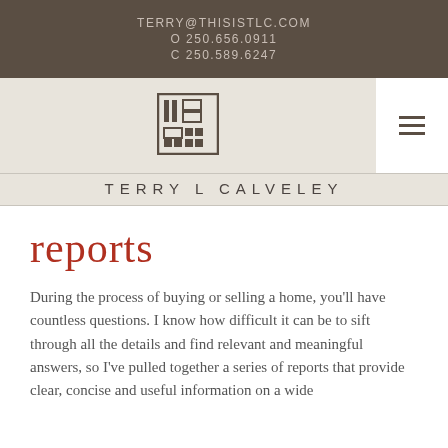TERRY@THISISTLC.COM
O 250.656.0911
C 250.589.6247
[Figure (logo): Terry L Calveley geometric square logo mark]
TERRY L CALVELEY
reports
During the process of buying or selling a home, you'll have countless questions. I know how difficult it can be to sift through all the details and find relevant and meaningful answers, so I've pulled together a series of reports that provide clear, concise and useful information on a wide